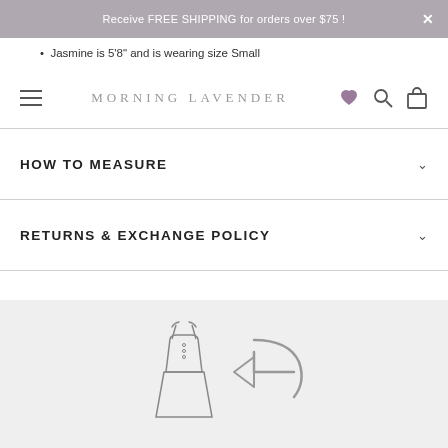Receive FREE SHIPPING for orders over $75 !
Jasmine is 5'8" and is wearing size Small
MORNING LAVENDER
HOW TO MEASURE
RETURNS & EXCHANGE POLICY
SHIPPING & ORDERS
ASK A QUESTION
[Figure (illustration): Dress outline icon and return arrow icon]